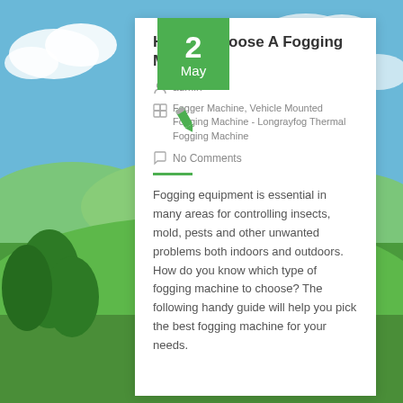[Figure (photo): Green grassy hills and blue sky with clouds background]
How to Choose A Fogging Machine?
admin
Fogger Machine, Vehicle Mounted Fogging Machine - Longrayfog Thermal Fogging Machine
No Comments
Fogging equipment is essential in many areas for controlling insects, mold, pests and other unwanted problems both indoors and outdoors. How do you know which type of fogging machine to choose? The following handy guide will help you pick the best fogging machine for your needs.